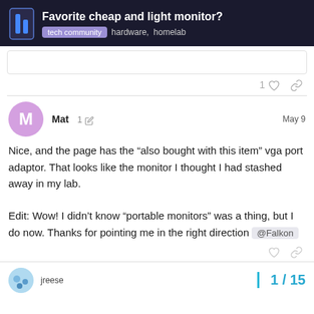Favorite cheap and light monitor? | tech community | hardware, homelab
Nice, and the page has the “also bought with this item” vga port adaptor. That looks like the monitor I thought I had stashed away in my lab.

Edit: Wow! I didn’t know “portable monitors” was a thing, but I do now. Thanks for pointing me in the right direction @Falkon
jreese
1 / 15